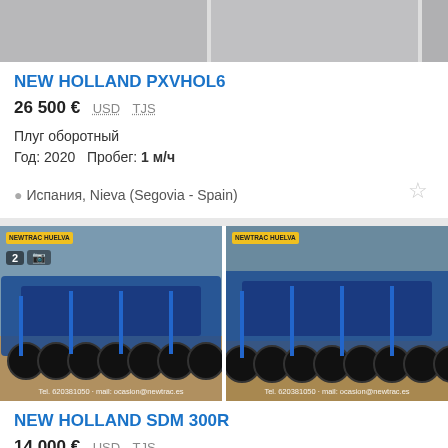[Figure (photo): Two partial agricultural equipment photos at top of page, cropped]
NEW HOLLAND PXVHOL6
26 500 € USD TJS
Плуг оборотный
Год: 2020   Пробег: 1 м/ч
Испания, Nieva (Segovia - Spain)
[Figure (photo): Two photos of blue NEW HOLLAND SDM 300R disc harrow agricultural machine on dirt field, with NEWTRAC HUELVA branding badge and contact info watermark]
NEW HOLLAND SDM 300R
14 000 € USD TJS